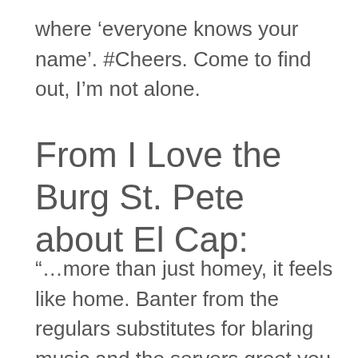where ‘everyone knows your name’. #Cheers. Come to find out, I’m not alone.
From I Love the Burg St. Pete about El Cap:
“…more than just homey, it feels like home. Banter from the regulars substitutes for blaring music and the servers greet you as if you’re an old friend. The evolution of the Burg’s foodie scene illuminates and makes